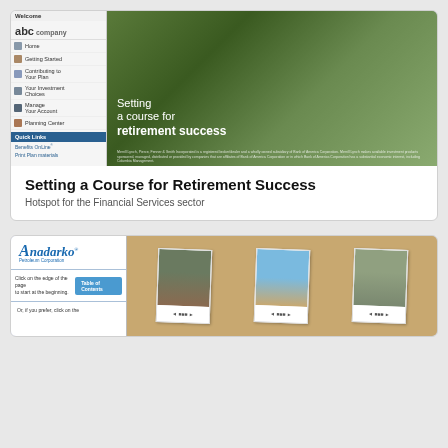[Figure (screenshot): Screenshot of a Merrill Lynch retirement plan website showing navigation panel with 'abc company' logo and links (Home, Getting Started, Contributing to Your Plan, Your Investment Choices, Manage Your Account, Planning Center, Quick Links, Benefits OnLine, Print Plan materials) and a hero image of a tree-lined path with text 'Setting a course for retirement success']
Setting a Course for Retirement Success
Hotspot for the Financial Services sector
[Figure (screenshot): Screenshot of an Anadarko Petroleum Corporation benefits website showing the company logo, navigation with 'Table of Contents' button, text 'Click on the edge of the page to start at the beginning.' and 'Or, if you prefer, click on the', and a corkboard image with polaroid-style photos pinned to it]